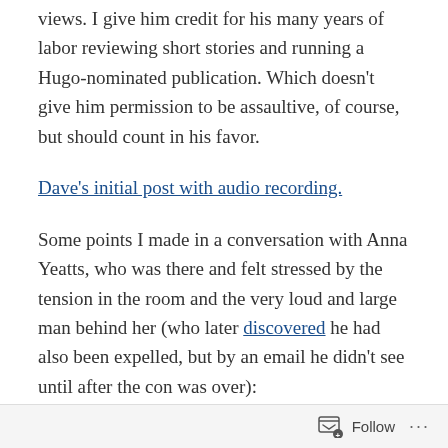views. I give him credit for his many years of labor reviewing short stories and running a Hugo-nominated publication. Which doesn't give him permission to be assaultive, of course, but should count in his favor.
Dave's initial post with audio recording.
Some points I made in a conversation with Anna Yeatts, who was there and felt stressed by the tension in the room and the very loud and large man behind her (who later discovered he had also been expelled, but by an email he didn't see until after the con was over):
– It's not unheard of for a person appointed moderator of a panel to open with a provocative stand against the thesis of the panel written by